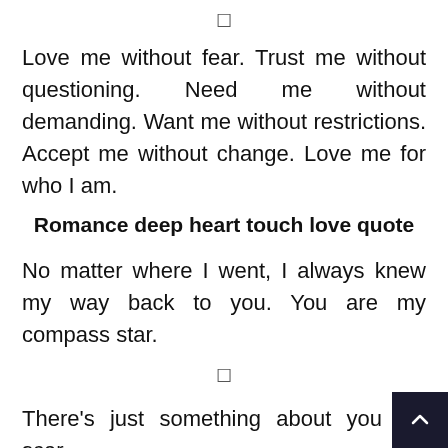[Figure (other): Small icon or symbol at top center]
Love me without fear. Trust me without questioning. Need me without demanding. Want me without restrictions. Accept me without change. Love me for who I am.
Romance deep heart touch love quote
No matter where I went, I always knew my way back to you. You are my compass star.
[Figure (other): Small icon or symbol at mid center]
There's just something about you I'm scar...